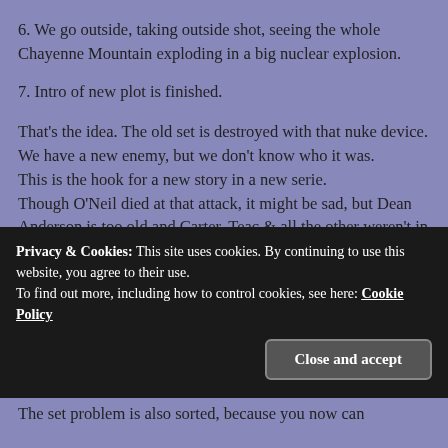6. We go outside, taking outside shot, seeing the whole Chayenne Mountain exploding in a big nuclear explosion.
7. Intro of new plot is finished.
That's the idea. The old set is destroyed with that nuke device.
We have a new enemy, but we don't know who it was.
This is the hook for a new story in a new serie.
Though O'Neil died at that attack, it might be sad, but Dean Anderson is too old and Carter, Teac & all the other weren't in the Stargate Center at that day, Carter was on Hammond deadalus class spaceship, Teac on Chullack
Privacy & Cookies: This site uses cookies. By continuing to use this website, you agree to their use.
To find out more, including how to control cookies, see here: Cookie Policy
The set problem is also sorted, because you now can build it as a set with the new floor plan idea.